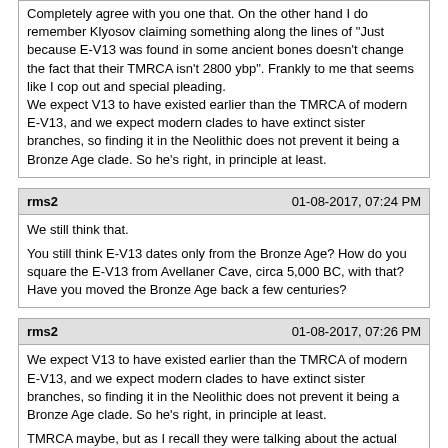Completely agree with you one that. On the other hand I do remember Klyosov claiming something along the lines of "Just because E-V13 was found in some ancient bones doesn't change the fact that their TMRCA isn't 2800 ybp". Frankly to me that seems like I cop out and special pleading.
We expect V13 to have existed earlier than the TMRCA of modern E-V13, and we expect modern clades to have extinct sister branches, so finding it in the Neolithic does not prevent it being a Bronze Age clade. So he's right, in principle at least.
rms2 | 01-08-2017, 07:24 PM
We still think that.

You still think E-V13 dates only from the Bronze Age? How do you square the E-V13 from Avellaner Cave, circa 5,000 BC, with that? Have you moved the Bronze Age back a few centuries?
rms2 | 01-08-2017, 07:26 PM
We expect V13 to have existed earlier than the TMRCA of modern E-V13, and we expect modern clades to have extinct sister branches, so finding it in the Neolithic does not prevent it being a Bronze Age clade. So he's right, in principle at least.

TMRCA maybe, but as I recall they were talking about the actual existence of E-V13.
Megalophias | 01-08-2017, 07:42 PM
TMRCA maybe, but as I recall they were talking about the actual existence of E-V13.
Huh, V13 could have come into existence any time between the TMCRAs of L618 and of V13, you'd need really young ages (and excessive faith in your TMCRA calculations) to exclude it existing in 5000 BC.